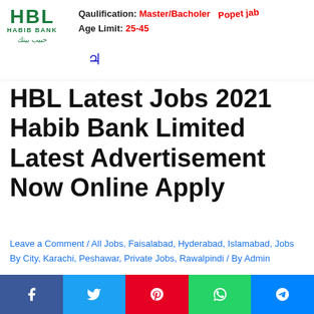[Figure (logo): HBL Habib Bank Limited logo with green text and Arabic script]
Qaulification: Master/Bacholer
Age Limit: 25-45
HBL Latest Jobs 2021 Habib Bank Limited Latest Advertisement Now Online Apply
Leave a Comment / All Jobs, Faisalabad, Hyderabad, Islamabad, Jobs By City, Karachi, Peshawar, Private Jobs, Rawalpindi / By Admin
HBL Latest Jobs 2021 Habib Bank Limited Latest Advertisement Now Online Apply . Jobs are available at HBL Habib Bank Limited